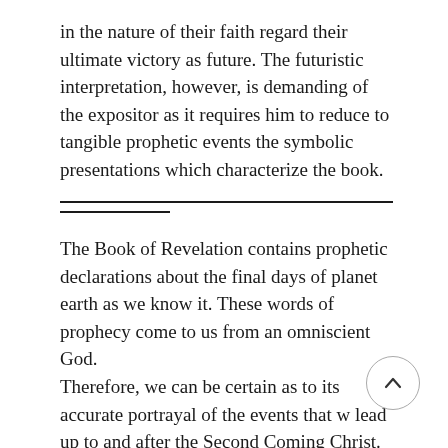in the nature of their faith regard their ultimate victory as future. The futuristic interpretation, however, is demanding of the expositor as it requires him to reduce to tangible prophetic events the symbolic presentations which characterize the book.
The Book of Revelation contains prophetic declarations about the final days of planet earth as we know it. These words of prophecy come to us from an omniscient God.
Therefore, we can be certain as to its accurate portrayal of the events that w lead up to and after the Second Coming Christ. There are several features of this